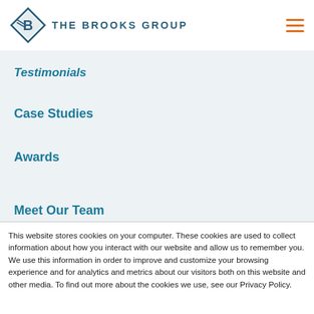THE BROOKS GROUP
Testimonials
Case Studies
Awards
Meet Our Team
This website stores cookies on your computer. These cookies are used to collect information about how you interact with our website and allow us to remember you. We use this information in order to improve and customize your browsing experience and for analytics and metrics about our visitors both on this website and other media. To find out more about the cookies we use, see our Privacy Policy.
If you decline, your information won't be tracked when you visit this website. A single cookie will be used in your browser to remember your preference not to be tracked.